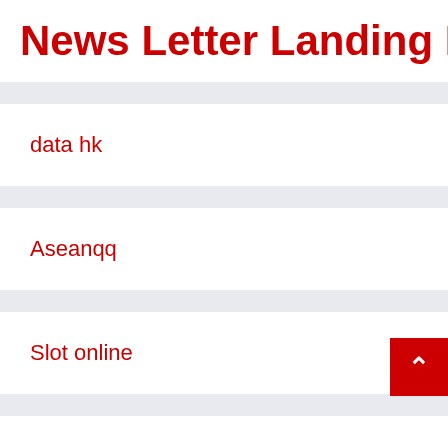News Letter Landing Page
data hk
Aseanqq
Slot online
zxspectrum.net